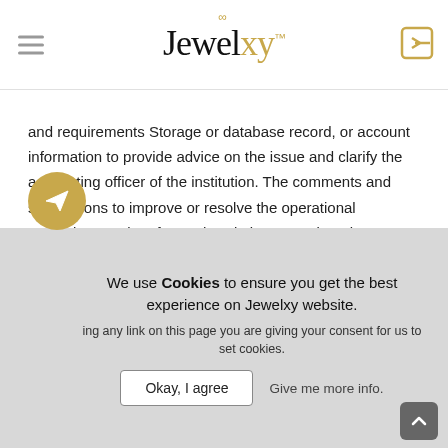Jewelxy™
and requirements Storage or database record, or account information to provide advice on the issue and clarify the accounting officer of the institution. The comments and suggestions to improve or resolve the operational supervisor. And perform other duties as assigned.
Like this Business   Share
YOU MAY ALSO LIKE
We use Cookies to ensure you get the best experience on Jewelxy website. ing any link on this page you are giving your consent for us to set cookies.
Okay, I agree   Give me more info.